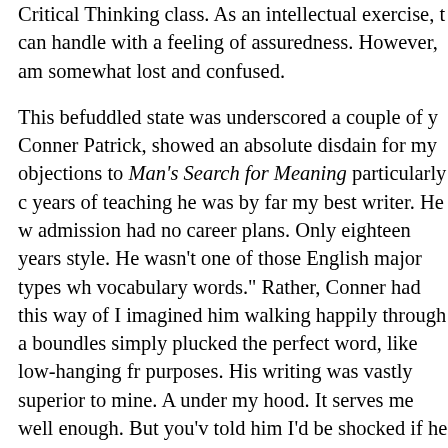Critical Thinking class. As an intellectual exercise, t can handle with a feeling of assuredness. However, am somewhat lost and confused.
This befuddled state was underscored a couple of y Conner Patrick, showed an absolute disdain for my objections to Man's Search for Meaning particularly c years of teaching he was by far my best writer. He w admission had no career plans. Only eighteen years style. He wasn't one of those English major types wh vocabulary words." Rather, Conner had this way of I imagined him walking happily through a boundles simply plucked the perfect word, like low-hanging fr purposes. His writing was vastly superior to mine. A under my hood. It serves me well enough. But you'v told him I'd be shocked if he didn't eventually becor
Conner was big, about six feet two inches and weig faded jeans, hiking boots, flannel shirts, and a he ha concealed freckles on his cherubic cheeks. He wore his curly reddish-brown hair. Most of the time, he sl had a generally friendly persona and socialized with